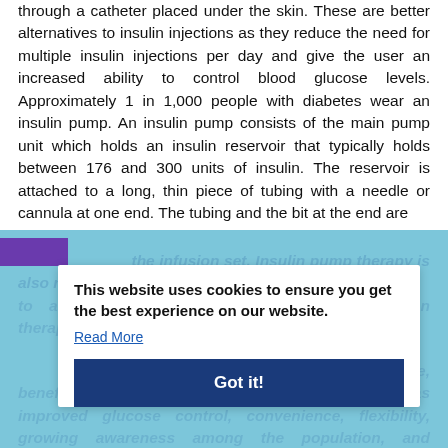through a catheter placed under the skin. These are better alternatives to insulin injections as they reduce the need for multiple insulin injections per day and give the user an increased ability to control blood glucose levels. Approximately 1 in 1,000 people with diabetes wear an insulin pump. An insulin pump consists of the main pump unit which holds an insulin reservoir that typically holds between 176 and 300 units of insulin. The reservoir is attached to a long, thin piece of tubing with a needle or cannula at one end. The tubing and the bit at the end are the infusion set. Insulin pump therapy is also referred to as continuous subcutaneous insulin infusion therapy.
This website uses cookies to ensure you get the best experience on our website.
Read More
Got it!
increasing incidence worldwide, benefits of insulin pumps over factors such as improved glucose control, convenience, flexibility, growing awareness among the population, and increasing preference for alternative methods are expected to drive the market at a significant growth rate in the coming years. In addition, infections, night-time...